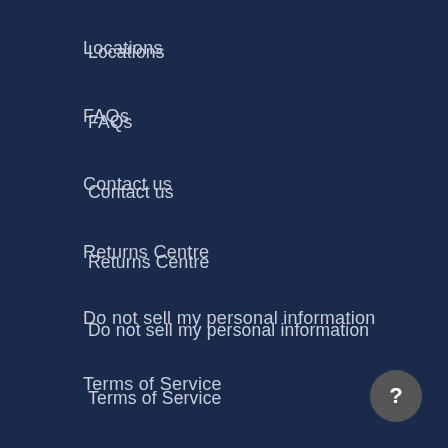Locations
FAQs
Contact us
Returns Centre
Do not sell my personal information
Terms of Service
Refund policy
Policies
Privacy Policy